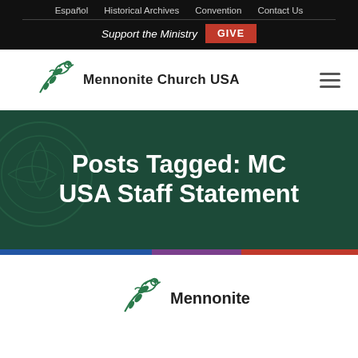Español   Historical Archives   Convention   Contact Us
Support the Ministry   GIVE
[Figure (logo): Mennonite Church USA logo with dove/leaf graphic and text 'Mennonite Church USA']
Posts Tagged: MC USA Staff Statement
[Figure (logo): Mennonite Church USA bottom logo, partial view showing dove/leaf graphic and text 'Mennonite']